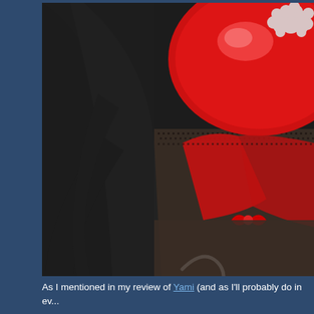[Figure (photo): Close-up photograph of an anime figure showing a red hat/helmet with a white fluffy decoration, long dark hair, and fishnet stockings/tights against a dark background.]
As I mentioned in my review of Yami (and as I'll probably do in ev... figures in this line), FREE is to be praised above and beyond...